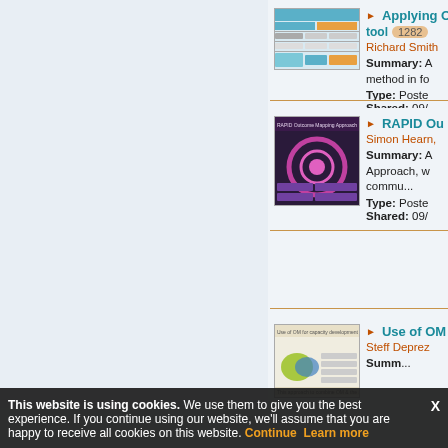[Figure (screenshot): Thumbnail of a poster about Applying O tool - a document with tables and colored sections, teal and orange colors]
Applying O tool 1282
Richard Smith
Summary: A method in fo
Type: Poste
Shared: 09/
[Figure (screenshot): Thumbnail of RAPID Outcome Mapping Approach poster - circular diagram with pink/magenta design on dark background]
RAPID Ou
Simon Hearn,
Summary: A Approach, w commu...
Type: Poste
Shared: 09/
[Figure (screenshot): Thumbnail of Use of OM for capacity development poster - document with circular diagram and tables]
Use of OM
Steff Deprez
Summary: ...
Type: Poste
This website is using cookies. We use them to give you the best experience. If you continue using our website, we'll assume that you are happy to receive all cookies on this website. Continue Learn more